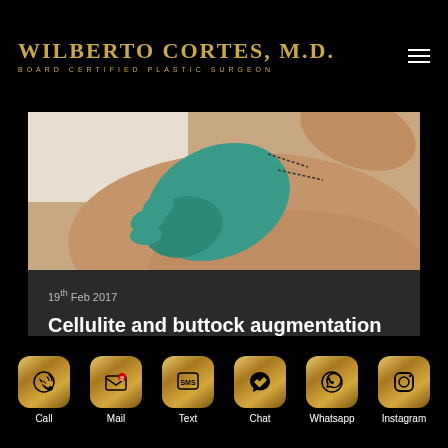WILBERTO CORTES, M.D. BOARD CERTIFIED PLASTIC SURGEON
[Figure (photo): Medical photo showing a gloved hand examining or marking a patient's buttock with surgical marker lines, typical pre-operative plastic surgery documentation]
19th Feb 2017
Cellulite and buttock augmentation
Call | Mail | Text | Chat | Whatsapp | Instagram